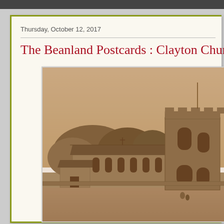Thursday, October 12, 2017
The Beanland Postcards : Clayton Church
[Figure (photo): Sepia-toned historical postcard photograph of Clayton Church, showing a stone church building with a square crenellated tower on the right, nave with sloped roof in the centre, a smaller chapel or vestry on the left, surrounded by trees and open grounds. Two small figures are visible in the foreground on the grass.]